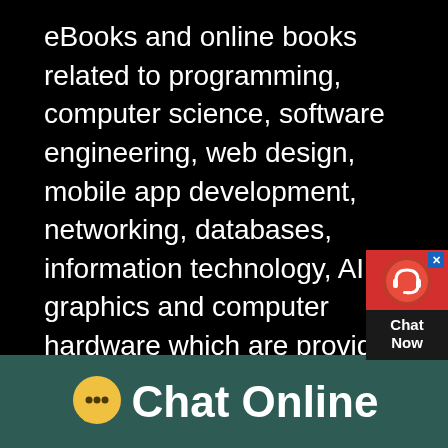eBooks and online books related to programming, computer science, software engineering, web design, mobile app development, networking, databases, information technology, AI, graphics and computer hardware which are provided by publishers or authors on their websites legallyWe do not host pirated books or weFree IT Books & Programming Books: Fast Download FREE IT Books, Computer and Programming Books Legally Licensed for Download to your PC, Mac, eReader or Smartphone in PDF, ePub and Kindle Menu Free Fiction Books Romance & Women's Crime, Thriller, Mystery Horror and Supernatural Action & Adventure Books Teen Books & YA Fiction Funny andFree IT Books &
[Figure (other): Chat widget with red background, headset icon, close button (x), and Chat Now label on dark background]
[Figure (other): Teal bottom bar with yellow speech bubble icon and Chat Online text in white]